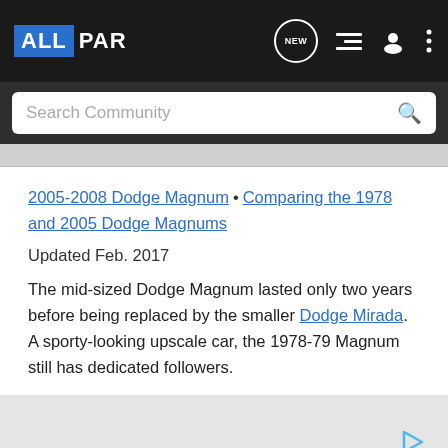ALLPAR
Search Community
2005-2008 Dodge Magnum • Comparing the 1978 and 2005 Dodge Magnums
Updated Feb. 2017
The mid-sized Dodge Magnum lasted only two years before being replaced by the smaller Dodge Mirada. A sporty-looking upscale car, the 1978-79 Magnum still has dedicated followers.
[Figure (other): Advertisement placeholder area with a play button icon]